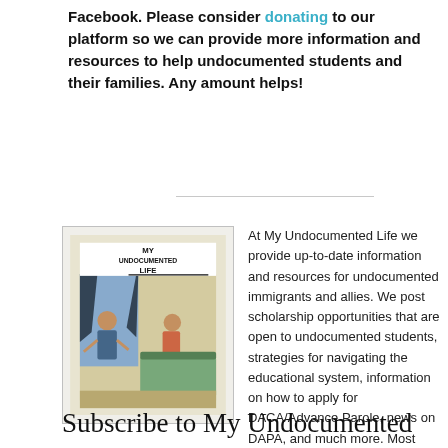Facebook. Please consider donating to our platform so we can provide more information and resources to help undocumented students and their families. Any amount helps!
[Figure (illustration): Comic book style illustration titled 'My Undocumented Life' showing a scene with figures inside a room with curtains and a window.]
At My Undocumented Life we provide up-to-date information and resources for undocumented immigrants and allies. We post scholarship opportunities that are open to undocumented students, strategies for navigating the educational system, information on how to apply for DACA/Advance Parole, news on DAPA, and much more. Most importantly, we want to provide a sense of community to our diverse group of readers. Learn more about our work here: “About Us”
Subscribe to My Undocumented